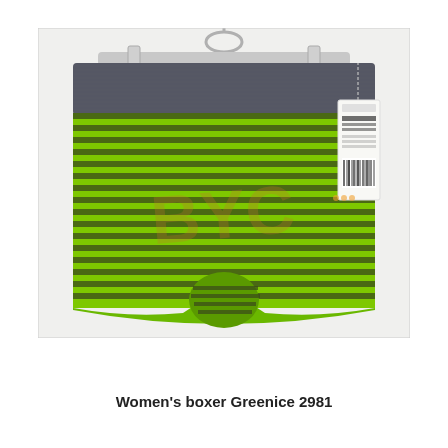[Figure (photo): A green and dark grey striped women's boxer underwear hanging on a hanger against a white background. The waistband is dark charcoal grey. The body has horizontal green and dark stripes. A retail tag with barcode is visible on the right side. A semi-transparent watermark logo appears in the center of the garment.]
Women's boxer Greenice 2981